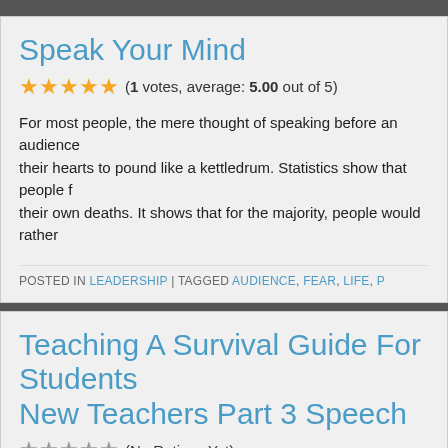Speak Your Mind
(1 votes, average: 5.00 out of 5)
For most people, the mere thought of speaking before an audience their hearts to pound like a kettledrum. Statistics show that people f their own deaths. It shows that for the majority, people would rather
POSTED IN LEADERSHIP | TAGGED AUDIENCE, FEAR, LIFE, P
Teaching A Survival Guide For Students New Teachers Part 3 Speech
(No Ratings Yet)
It is much harder to control the tone of your voice when you are talk therefore is to avoid shouting at all costs. Most women know the lim rarely lose control. Men can shout louder without losing control of th
POSTED IN REFERENCE EDUCATION | TAGGED AVOID, CHILD